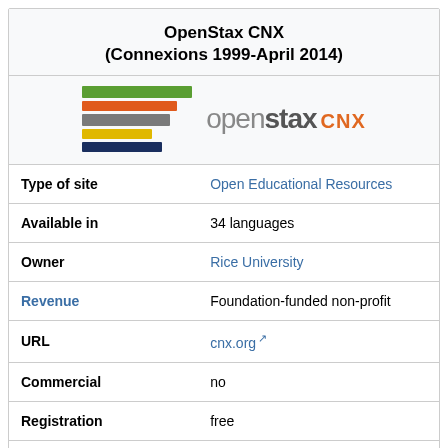OpenStax CNX
(Connexions 1999-April 2014)
[Figure (logo): OpenStax CNX logo with stacked colored bars and text 'openstax CNX']
| Type of site | Open Educational Resources |
| Available in | 34 languages |
| Owner | Rice University |
| Revenue | Foundation-funded non-profit |
| URL | cnx.org ↗ |
| Commercial | no |
| Registration | free |
| Launched | 1999 |